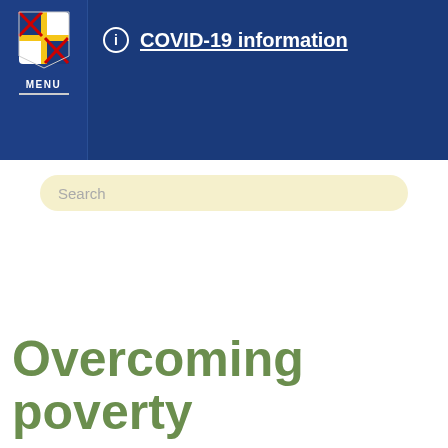MENU  COVID-19 information
Search
Overcoming poverty